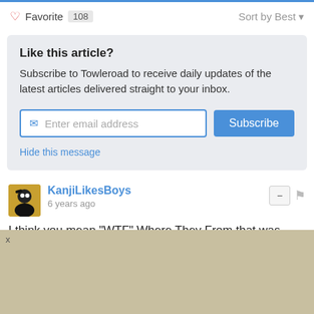♡ Favorite 108    Sort by Best ▾
Like this article?
Subscribe to Towleroad to receive daily updates of the latest articles delivered straight to your inbox.
Enter email address   Subscribe
Hide this message
KanjiLikesBoys
6 years ago
I think you mean "WTF" Where They From that was missy's previous single